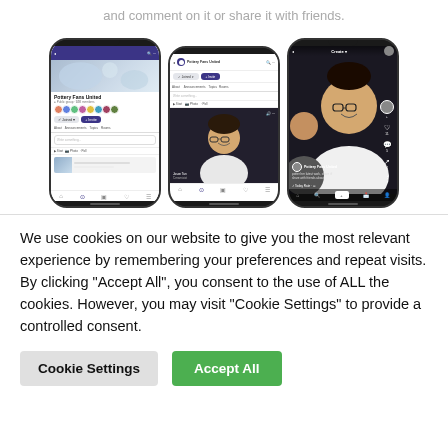and comment on it or share it with friends.
[Figure (screenshot): Three smartphone screenshots showing Facebook group pages and a video call interface, with a Pottery Fans United group page, a video call screen, and a TikTok-style feed.]
We use cookies on our website to give you the most relevant experience by remembering your preferences and repeat visits. By clicking "Accept All", you consent to the use of ALL the cookies. However, you may visit "Cookie Settings" to provide a controlled consent.
Cookie Settings
Accept All